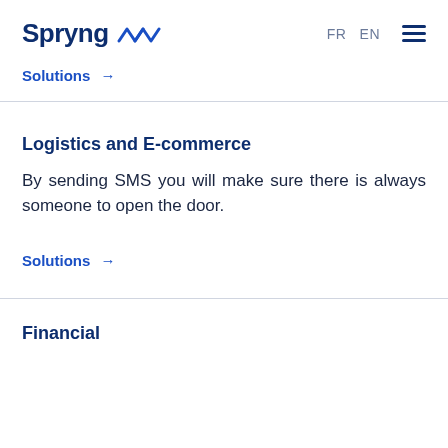Spryng  FR  EN
Solutions →
Logistics and E-commerce
By sending SMS you will make sure there is always someone to open the door.
Solutions →
Financial...